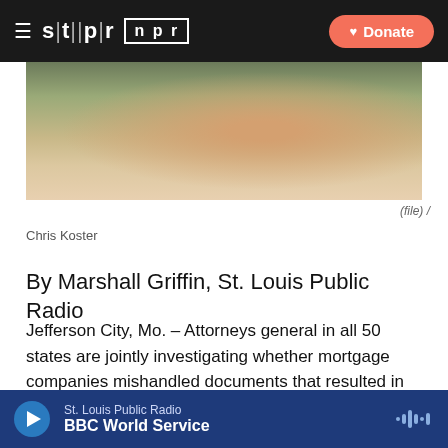stlpr | npr  Donate
[Figure (photo): Partial photo of a person's face/chin — file photo]
(file) /
Chris Koster
By Marshall Griffin, St. Louis Public Radio
Jefferson City, Mo. – Attorneys general in all 50 states are jointly investigating whether mortgage companies mishandled documents that resulted in hundreds of thousands of home foreclosures across the country.
Missouri Attorney General Chris Koster says it appears
St. Louis Public Radio
BBC World Service